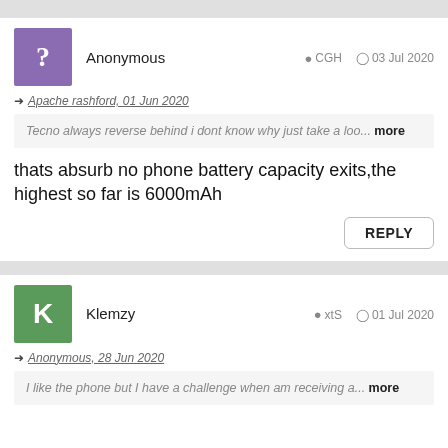Anonymous  CGH  03 Jul 2020
→ Apache rashford, 01 Jun 2020
Tecno always reverse behind i dont know why just take a loo... more
thats absurb no phone battery capacity exits,the highest so far is 6000mAh
REPLY
Klemzy  xtS  01 Jul 2020
→ Anonymous, 28 Jun 2020
I like the phone but I have a challenge when am receiving a... more